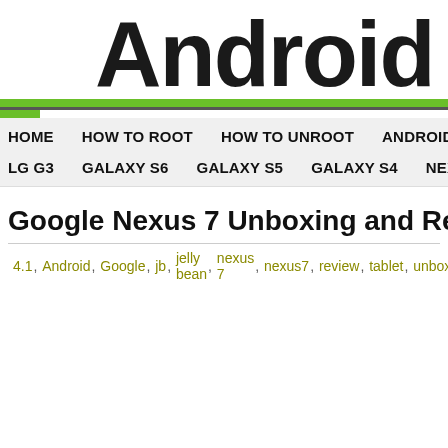AndroidP (logo, cropped)
HOME  HOW TO ROOT  HOW TO UNROOT  ANDROID FILES
LG G3  GALAXY S6  GALAXY S5  GALAXY S4  NEXUS 6
Google Nexus 7 Unboxing and Review
4.1, Android, Google, jb, jelly bean, nexus 7, nexus7, review, tablet, unboxing